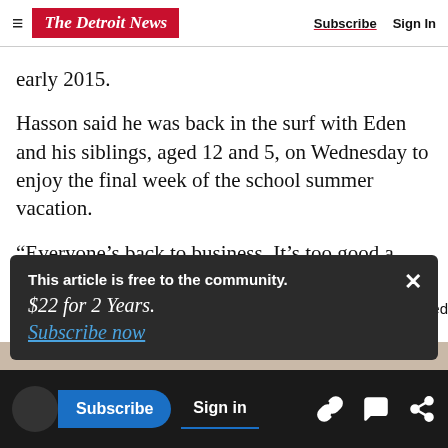The Detroit News | Subscribe | Sign In
early 2015.
Hasson said he was back in the surf with Eden and his siblings, aged 12 and 5, on Wednesday to enjoy the final week of the school summer vacation.
“Everyone’s back to business. It’s too good a lifestyle sport not to,” Hasson said.
This article is free to the community.
$22 for 2 Years.
Subscribe now